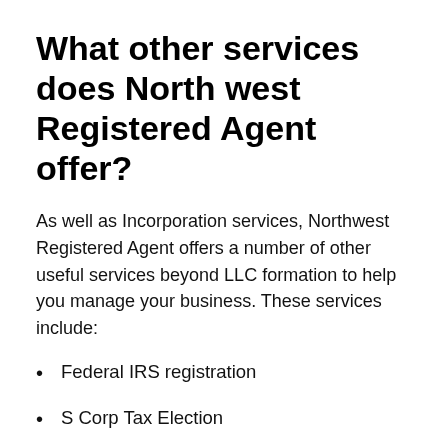What other services does Northwest Registered Agent offer?
As well as Incorporation services, Northwest Registered Agent offers a number of other useful services beyond LLC formation to help you manage your business. These services include:
Federal IRS registration
S Corp Tax Election
Corporate Book and Seal
Customized Operating Agreement
Customized Corporate Bylaws
Business Licence Registration